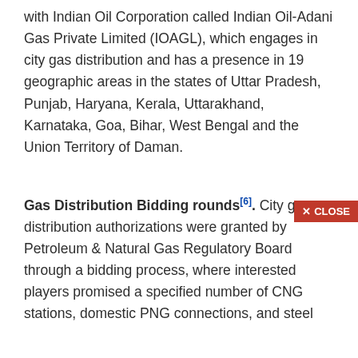with Indian Oil Corporation called Indian Oil-Adani Gas Private Limited (IOAGL), which engages in city gas distribution and has a presence in 19 geographic areas in the states of Uttar Pradesh, Punjab, Haryana, Kerala, Uttarakhand, Karnataka, Goa, Bihar, West Bengal and the Union Territory of Daman.
Gas Distribution Bidding rounds[6]. City gas distribution authorizations were granted by Petroleum & Natural Gas Regulatory Board through a bidding process, where interested players promised a specified number of CNG stations, domestic PNG connections, and steel...